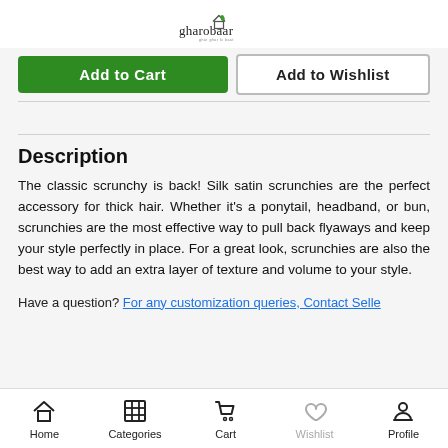gharobaar logo
Add to Cart | Add to Wishlist
Description
The classic scrunchy is back! Silk satin scrunchies are the perfect accessory for thick hair. Whether it's a ponytail, headband, or bun, scrunchies are the most effective way to pull back flyaways and keep your style perfectly in place. For a great look, scrunchies are also the best way to add an extra layer of texture and volume to your style.
Have a question? For any customization queries, Contact Selle...
Home | Categories | Cart | Wishlist | Profile